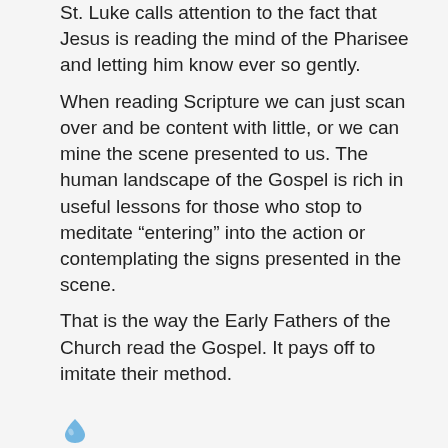St. Luke calls attention to the fact that Jesus is reading the mind of the Pharisee and letting him know ever so gently.
When reading Scripture we can just scan over and be content with little, or we can mine the scene presented to us. The human landscape of the Gospel is rich in useful lessons for those who stop to meditate “entering” into the action or contemplating the signs presented in the scene.
That is the way the Early Fathers of the Church read the Gospel. It pays off to imitate their method.
[Figure (other): Small blue teardrop/water-drop icon at the bottom left of the content area]